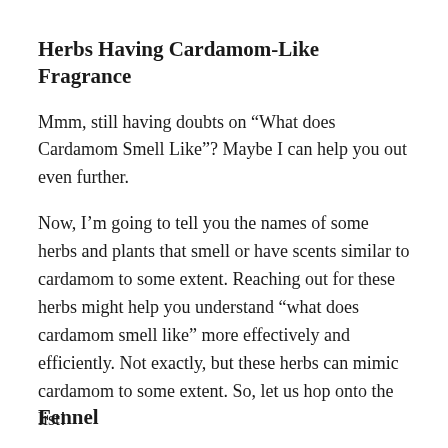Herbs Having Cardamom-Like Fragrance
Mmm, still having doubts on “What does Cardamom Smell Like”? Maybe I can help you out even further.
Now, I’m going to tell you the names of some herbs and plants that smell or have scents similar to cardamom to some extent. Reaching out for these herbs might help you understand “what does cardamom smell like” more effectively and efficiently. Not exactly, but these herbs can mimic cardamom to some extent. So, let us hop onto the list!
Fennel